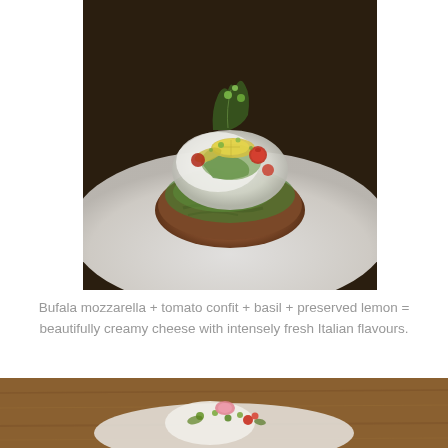[Figure (photo): Close-up photo of a plated dish: bufala mozzarella with tomato confit, basil, and preserved lemon on toasted bread, garnished with green herbs and yellow lemon slices, on a white plate]
Bufala mozzarella + tomato confit + basil + preserved lemon = beautifully creamy cheese with intensely fresh Italian flavours.
[Figure (photo): Partially visible photo of another plated dish on a wooden table surface, featuring colorful garnishes including pink/red radish, green herbs, and red tomatoes on a white plate]